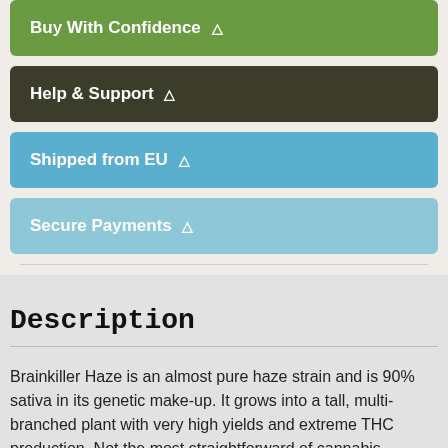Buy With Confidence
Help & Support
Shipped from EU
Secure Payments
Description
Brainkiller Haze is an almost pure haze strain and is 90% sativa in its genetic make-up. It grows into a tall, multi-branched plant with very high yields and extreme THC production. Not the most straightforward of cannabis